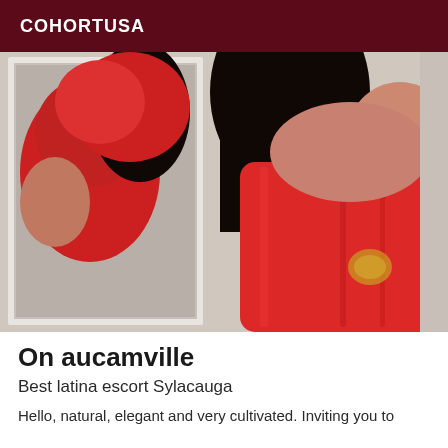COHORTUSA
[Figure (photo): A woman wearing a red dress taking a mirror selfie, with dark hair, photographed from above. The image shows a reflection in a mirror with a white frame.]
On aucamville
Best latina escort Sylacauga
Hello, natural, elegant and very cultivated. Inviting you to